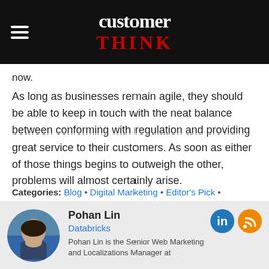customer THINK
now.
As long as businesses remain agile, they should be able to keep in touch with the neat balance between conforming with regulation and providing great service to their customers. As soon as either of those things begins to outweigh the other, problems will almost certainly arise.
Categories: Blog • Digital Marketing • Editor's Pick • Marketing Technology • Personalization
146 views
Pohan Lin
Databricks
Pohan Lin is the Senior Web Marketing and Localizations Manager at